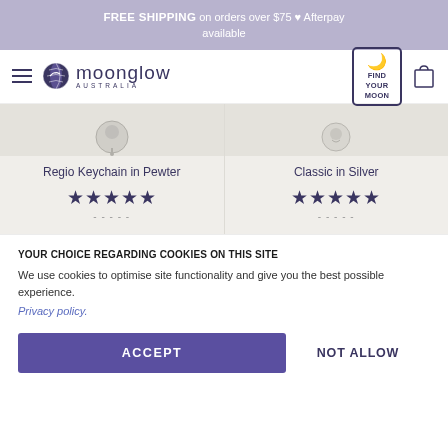FREE SHIPPING on orders over $75 ♥ Afterpay available
[Figure (logo): Moonglow Australia logo with globe icon, hamburger menu, Find Your Moon button, and cart icon]
[Figure (photo): Two product cards showing Regio Keychain in Pewter and Classic in Silver with 5-star ratings, partially visible prices]
YOUR CHOICE REGARDING COOKIES ON THIS SITE
We use cookies to optimise site functionality and give you the best possible experience.
Privacy policy.
ACCEPT
NOT ALLOW